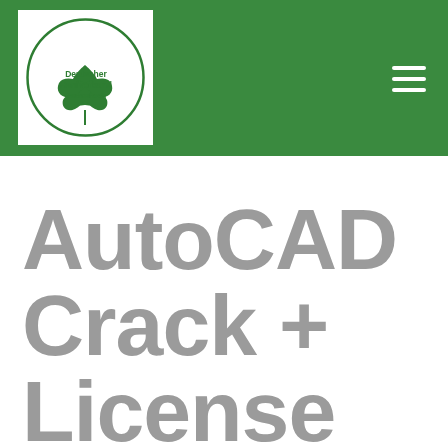[Figure (logo): Deutscher Hanfverband Braunschweig logo — circular green border with a cannabis leaf icon and text 'Deutscher Hanfverband Braunschweig' inside, on white background, set within a green header bar with a hamburger menu icon on the right.]
AutoCAD Crack + License Key